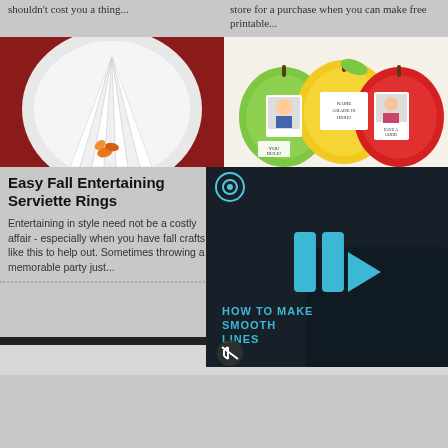shouldn't cost you a thing...
store for a purchase when you can make free printable...
[Figure (photo): White napkin folded in a fan shape on a round white plate with a small orange autumn leaf decoration, on a red background]
[Figure (photo): Colorful paper apple-shaped cards in green, yellow and red with children's photos inside, back-to-school craft project]
Easy Fall Entertaining Serviette Rings
Entertaining in style need not be a costly affair - especially when you have fall crafts like this to help out. Sometimes throwing a memorable party just...
[Figure (screenshot): Dark video player overlay showing 'HOW TO MAKE SMOOTH LINES' text in cyan/teal color with play button controls and a mute icon, over a dark background with hands visible]